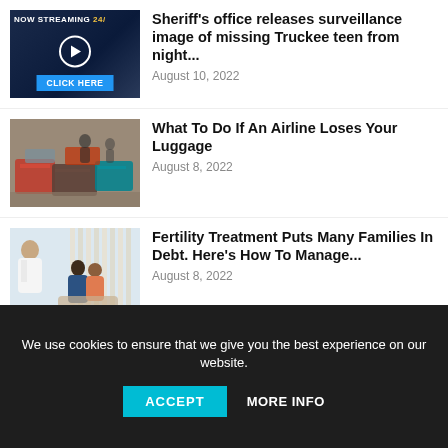[Figure (screenshot): Thumbnail showing live streaming with play button and CLICK HERE button, city skyline background, 'NOW STREAMING 24/' text]
Sheriff's office releases surveillance image of missing Truckee teen from night...
August 10, 2022
[Figure (photo): Photo of luggage piled up at an airport, several suitcases visible]
What To Do If An Airline Loses Your Luggage
August 8, 2022
[Figure (photo): Photo of a couple sitting with a medical professional in an office setting]
Fertility Treatment Puts Many Families In Debt. Here's How To Manage...
August 8, 2022
We use cookies to ensure that we give you the best experience on our website.
ACCEPT
MORE INFO